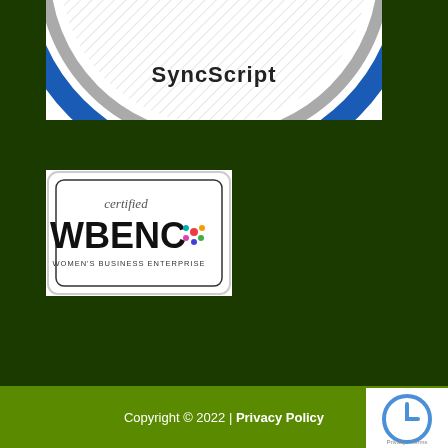[Figure (logo): Partial circular badge/seal for SyncScript with blue and gray ring border, white center with diagonal hatching pattern, text 'SyncScript' visible inside]
[Figure (logo): WBENC certified Women's Business Enterprise logo: white rectangular badge with rounded corners, text 'certified' in gray, 'WBENC' in large bold black letters with colorful dots icon, 'WOMEN'S BUSINESS ENTERPRISE' in small caps below]
Copyright © 2022 | Privacy Policy